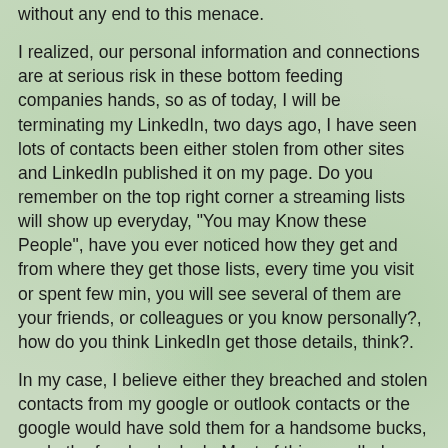without any end to this menace.
I realized, our personal information and connections are at serious risk in these bottom feeding companies hands, so as of today, I will be terminating my LinkedIn, two days ago, I have seen lots of contacts been either stolen from other sites and LinkedIn published it on my page. Do you remember on the top right corner a streaming lists will show up everyday, "You may Know these People", have you ever noticed how they get and from where they get those lists, every time you visit or spent few min, you will see several of them are your friends, or colleagues or you know personally?, how do you think LinkedIn get those details, think?.
In my case, I believe either they breached and stolen contacts from my google or outlook contacts or the google would have sold them for a handsome bucks, so do the facebooks leak. Most of this so called breach or leaks are not really leaks but they purposefully create news awareness so that they can get away from any law suits or Feds going after them, because leak or breach is an accident?. wow..
So be on